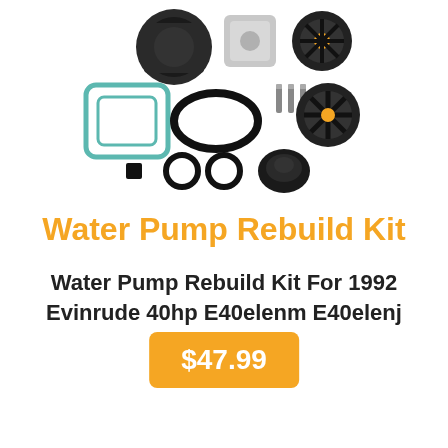[Figure (photo): Water pump rebuild kit components laid out on white background, including pump housing, cover plate, impeller, gaskets, O-rings, bolts/screws, and other small seals and parts.]
Water Pump Rebuild Kit
Water Pump Rebuild Kit For 1992 Evinrude 40hp E40elenm E40elenj E40teenj
$47.99